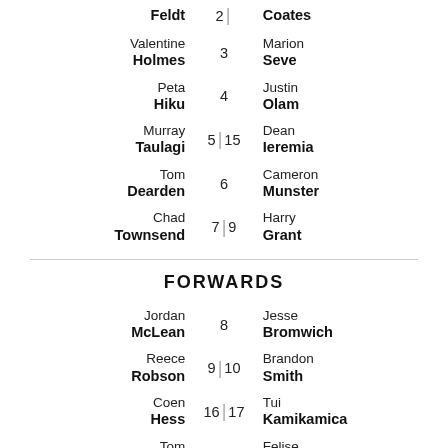| Left Player | Number | Right Player |
| --- | --- | --- |
| Feldt | 2 | . | Coates |
| Valentine Holmes | 3 | Marion Seve |
| Peta Hiku | 4 | Justin Olam |
| Murray Taulagi | 5 | 15 | Dean Ieremia |
| Tom Dearden | 6 | Cameron Munster |
| Chad Townsend | 7 | 9 | Harry Grant |
FORWARDS
| Left Player | Number | Right Player |
| --- | --- | --- |
| Jordan McLean | 8 | Jesse Bromwich |
| Reece Robson | 9 | 10 | Brandon Smith |
| Coen Hess | 16 | 17 | Tui Kamikamica |
| Tom Gilbert | 11 | Felise Kaufusi |
| Jeremiah | 12 | Kenneath |